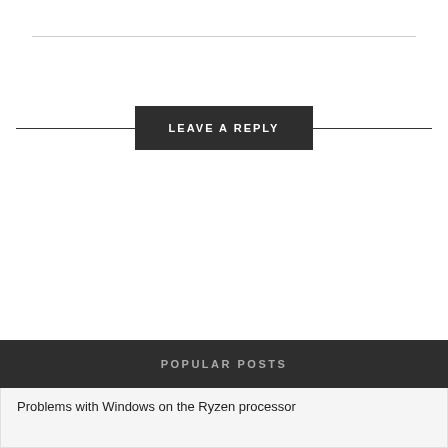LEAVE A REPLY
POPULAR POSTS
Problems with Windows on the Ryzen processor